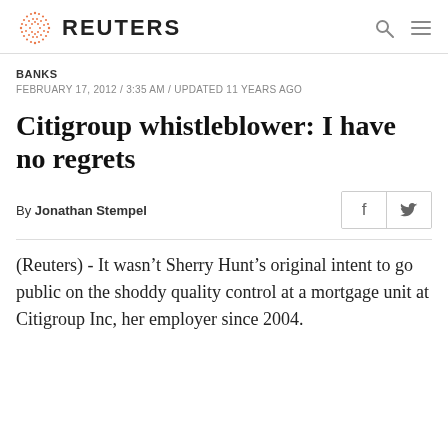REUTERS
BANKS
FEBRUARY 17, 2012 / 3:35 AM / UPDATED 11 YEARS AGO
Citigroup whistleblower: I have no regrets
By Jonathan Stempel
(Reuters) - It wasn't Sherry Hunt's original intent to go public on the shoddy quality control at a mortgage unit at Citigroup Inc, her employer since 2004.